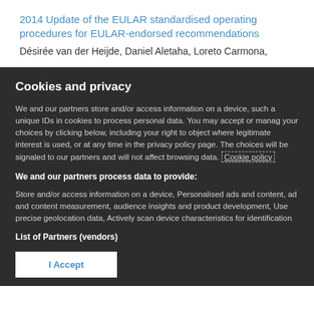2014 Update of the EULAR standardised operating procedures for EULAR-endorsed recommendations
Désirée van der Heijde, Daniel Aletaha, Loreto Carmona,
Cookies and privacy
We and our partners store and/or access information on a device, such a unique IDs in cookies to process personal data. You may accept or manage your choices by clicking below, including your right to object where legitimate interest is used, or at any time in the privacy policy page. These choices will be signaled to our partners and will not affect browsing data. Cookie policy
We and our partners process data to provide:
Store and/or access information on a device, Personalised ads and content, ad and content measurement, audience insights and product development, Use precise geolocation data, Actively scan device characteristics for identification
List of Partners (vendors)
I Accept